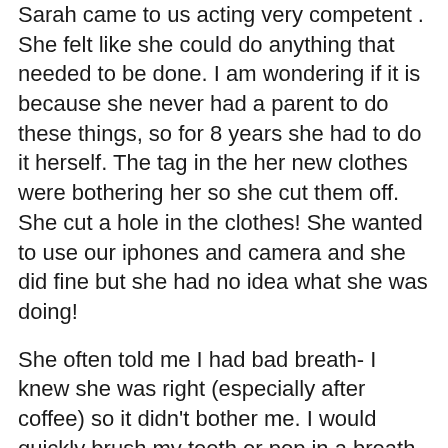Sarah came to us acting very competent . She felt like she could do anything that needed to be done. I am wondering if it is because she never had a parent to do these things, so for 8 years she had to do it herself. The tag in the her new clothes were bothering her so she cut them off. She cut a hole in the clothes! She wanted to use our iphones and camera and she did fine but she had no idea what she was doing!
She often told me I had bad breath- I knew she was right (especially after coffee) so it didn't bother me. I would quickly brush my teeth or pop in a breath mint. We noticed that Sarah's breath didn't smell too good either. I am sure it was because the NEVER brush their teeth. They say they do in the referral but they do not- can you imagine keeping that many tooth brushes organized and clean- illness would have spread even easier than it did and I am sure they did not have the money for toothpaste. (maybe it is